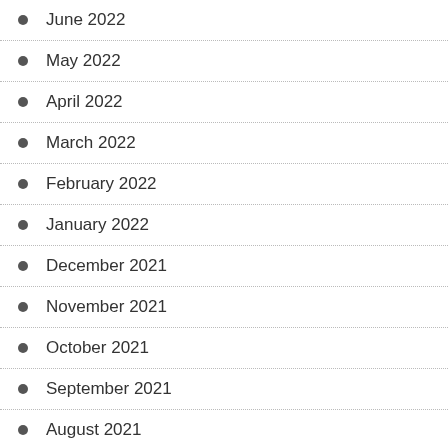June 2022
May 2022
April 2022
March 2022
February 2022
January 2022
December 2021
November 2021
October 2021
September 2021
August 2021